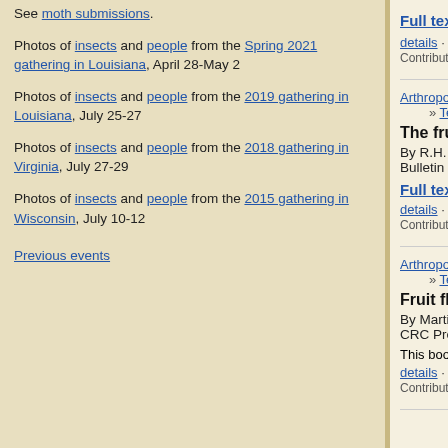See moth submissions.
Photos of insects and people from the Spring 2021 gathering in Louisiana, April 28-May 2
Photos of insects and people from the 2019 gathering in Louisiana, July 25-27
Photos of insects and people from the 2018 gathering in Virginia, July 27-29
Photos of insects and people from the 2015 gathering in Wisconsin, July 10-12
Previous events
Full text
details · 1 comment
Contributed by John F. Carr on 7 December, 2010 - 3:22pm
Arthropods (Arthropoda) » Hexapods (Hexapoda) » Tephritoidea » Fruit Flies (Tephritidae)
The fruit flies or Tephritidae of California
By R.H. Foote, F.L. Blanc
Bulletin of the California Insect Survey 7: 1-117, 1
Full text
details · login or register to post comments
Contributed by v belov on 2 December, 2010 - 5:22pm
Arthropods (Arthropoda) » Hexapods (Hexapoda) » Tephritoidea » Fruit Flies (Tephritidae)
Fruit flies (Tephritidae): Phylogeny and Evolut
By Martin Aluja, Allen Lee Norrbom
CRC Press, 1999
This book can be partially perused via this Google
details · view at amazon.com · login or register to
Contributed by Aaron Schusteff on 12 August, 2010 - 10:32